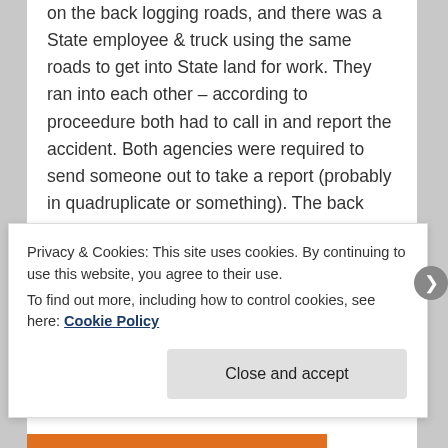on the back logging roads, and there was a State employee & truck using the same roads to get into State land for work. They ran into each other – according to proceedure both had to call in and report the accident. Both agencies were required to send someone out to take a report (probably in quadruplicate or something). The back logging roads were so bad that the two responding ended up wrecking into each other! Fortunately they were all traveling slow enough that there were no injuries. Does go to show just how darned difficult these 'spaghetti roads' can be to travel on.
Reply ↓
Privacy & Cookies: This site uses cookies. By continuing to use this website, you agree to their use.
To find out more, including how to control cookies, see here: Cookie Policy
Close and accept